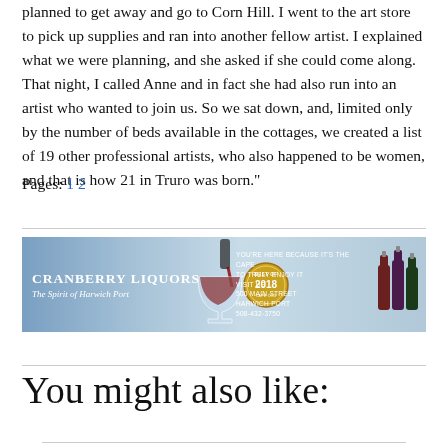planned to get away and go to Corn Hill. I went to the art store to pick up supplies and ran into another fellow artist. I explained what we were planning, and she asked if she could come along. That night, I called Anne and in fact she had also run into an artist who wanted to join us. So we sat down, and, limited only by the number of beds available in the cottages, we created a list of 19 other professional artists, who also happened to be women, and that is how 21 in Truro was born."
Pages: 1 2
[Figure (photo): Advertisement for Cranberry Liquors - The Spirit of Harwich Port. Blue banner ad with wine being poured, a Best of 2018 badge, and text: YOU'RE HERE BECAUSE IT'S THE CAPE, TO TRULY ENJOY IT VISIT US, 500 MAIN STREET HARWICH PORT, 508-432-3750.]
You might also like: